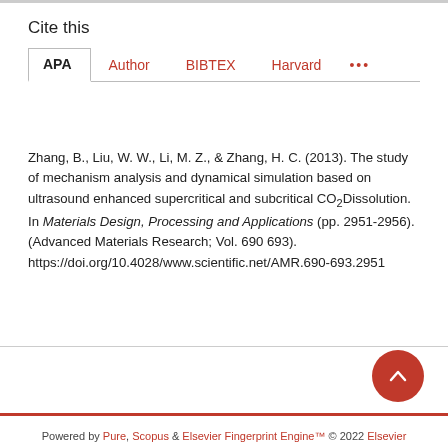Cite this
APA  Author  BIBTEX  Harvard  ...
Zhang, B., Liu, W. W., Li, M. Z., & Zhang, H. C. (2013). The study of mechanism analysis and dynamical simulation based on ultrasound enhanced supercritical and subcritical CO₂Dissolution. In Materials Design, Processing and Applications (pp. 2951-2956). (Advanced Materials Research; Vol. 690 693). https://doi.org/10.4028/www.scientific.net/AMR.690-693.2951
Powered by Pure, Scopus & Elsevier Fingerprint Engine™ © 2022 Elsevier